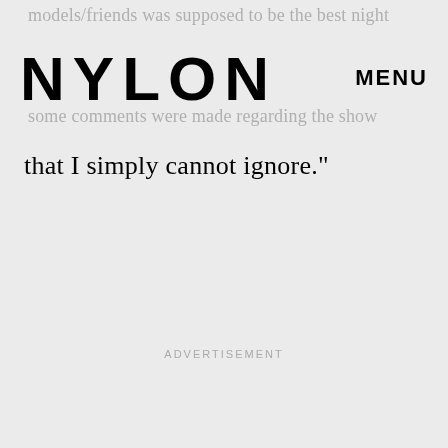models/friends was supposed to be the best night
NYLON  MENU
I filmed the perfo
some comments were made regarding the show
that I simply cannot ignore."
ADVERTISEMENT